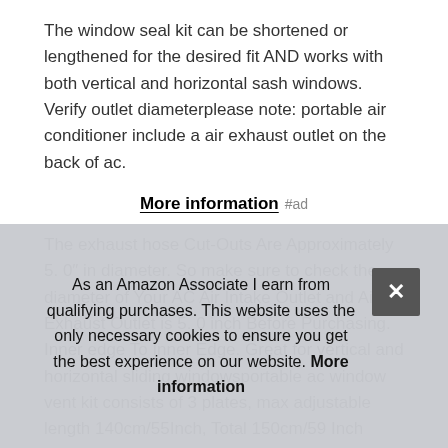The window seal kit can be shortened or lengthened for the desired fit AND works with both vertical and horizontal sash windows. Verify outlet diameterplease note: portable air conditioner include a air exhaust outlet on the back of ac.
More information #ad
The exhaust hose Cut-Outs Are Approximately 5. 0″ in diameter. So make sure to check the diameter of Your AC Air Intake Outlet and Air Exhaust Outlet is 5. 0 inch Before Purchasing. Inner edge To Inner Edge. Great for vertical and horizontal sliding windowsportable ac window vent kit consists of 3 plates, max adjustable length 140cm/55Inch, Total 150cm/59 Inch Length. Be Satisfied With The Needs Of Different...
Slot... Cho... Necessary. Package includesair conditioner parts &
As an Amazon Associate I earn from qualifying purchases. This website uses the only necessary cookies to ensure you get the best experience on our website. More information